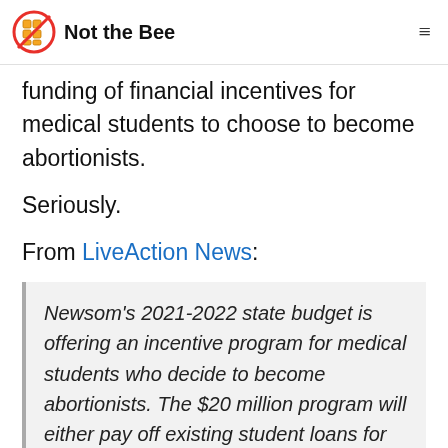Not the Bee
funding of financial incentives for medical students to choose to become abortionists.
Seriously.
From LiveAction News:
Newsom's 2021-2022 state budget is offering an incentive program for medical students who decide to become abortionists. The $20 million program will either pay off existing student loans for practicing abortionists or be offered as